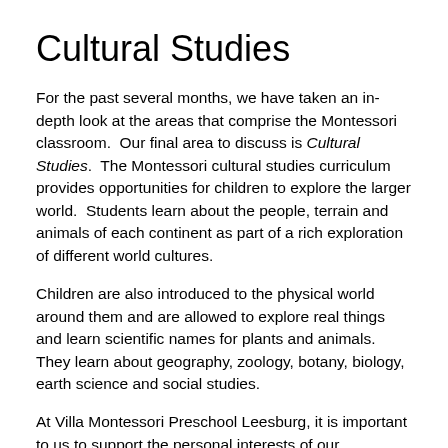Cultural Studies
For the past several months, we have taken an in-depth look at the areas that comprise the Montessori classroom.  Our final area to discuss is Cultural Studies.  The Montessori cultural studies curriculum provides opportunities for children to explore the larger world.  Students learn about the people, terrain and animals of each continent as part of a rich exploration of different world cultures.
Children are also introduced to the physical world around them and are allowed to explore real things and learn scientific names for plants and animals.  They learn about geography, zoology, botany, biology, earth science and social studies.
At Villa Montessori Preschool Leesburg, it is important to us to support the personal interests of our